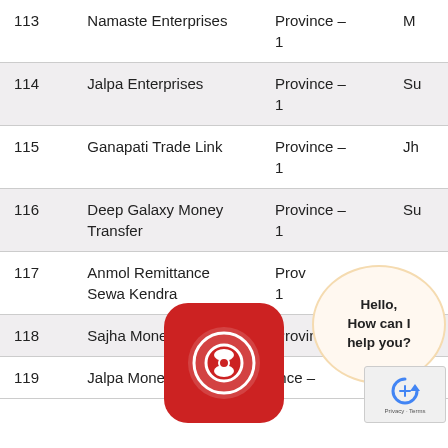| # | Name | Province | District |
| --- | --- | --- | --- |
| 113 | Namaste Enterprises | Province – 1 | M |
| 114 | Jalpa Enterprises | Province – 1 | Su |
| 115 | Ganapati Trade Link | Province – 1 | Jh |
| 116 | Deep Galaxy Money Transfer | Province – 1 | Su |
| 117 | Anmol Remittance Sewa Kendra | Province – 1 |  |
| 118 | Sajha Money Transfer | Province – | Jh |
| 119 | Jalpa Money Transfer | Province – |  |
[Figure (other): Chat bubble overlay saying Hello, How can I help you?]
[Figure (logo): Red rounded square app icon with a circular logo inside]
[Figure (other): Google reCAPTCHA widget with arrow icon and Privacy Terms text]